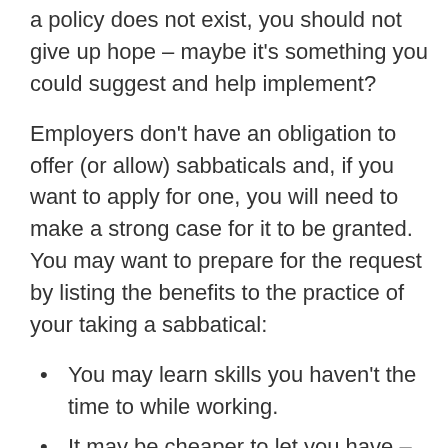a policy does not exist, you should not give up hope – maybe it's something you could suggest and help implement?
Employers don't have an obligation to offer (or allow) sabbaticals and, if you want to apply for one, you will need to make a strong case for it to be granted. You may want to prepare for the request by listing the benefits to the practice of your taking a sabbatical:
You may learn skills you haven't the time to while working.
It may be cheaper to let you have – say – three months off, rather than have to recruit another person, as anyone who comes into the job as a replacement will take time to learn the ropes, by which time you will be back.